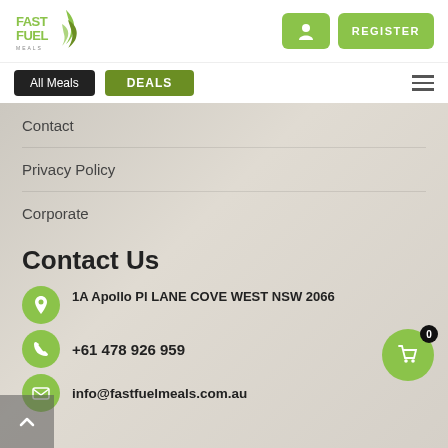[Figure (logo): Fast Fuel Meals logo - green leaf/flame design with text]
Login button and REGISTER button
All Meals
DEALS
Contact
Privacy Policy
Corporate
Contact Us
1A Apollo Pl LANE COVE WEST NSW 2066
+61 478 926 959
info@fastfuelmeals.com.au